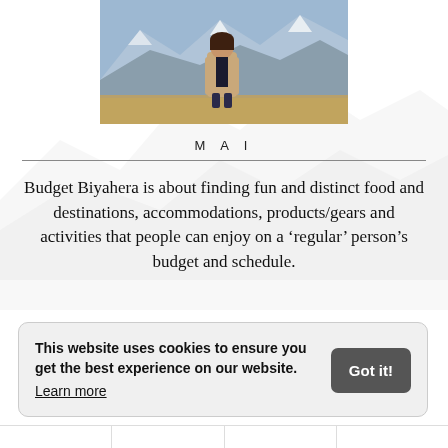[Figure (photo): Woman standing in front of snow-capped mountains, wearing a beige/tan coat. Background shows rugged mountain peaks with patches of snow and dry golden grass at the base.]
MAI
Budget Biyahera is about finding fun and distinct food and destinations, accommodations, products/gears and activities that people can enjoy on a ‘regular’ person’s budget and schedule.
This website uses cookies to ensure you get the best experience on our website. Learn more Got it!